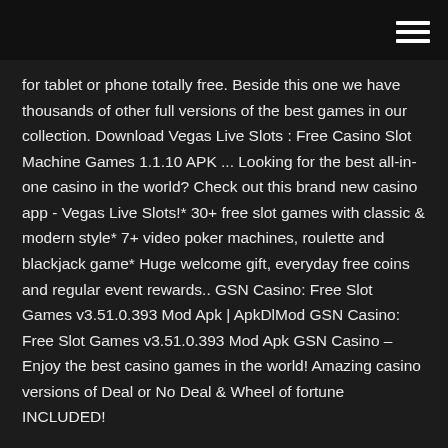[hamburger menu icon]
for tablet or phone totally free. Beside this one we have thousands of other full versions of the best games in our collection. Download Vegas Live Slots : Free Casino Slot Machine Games 1.1.10 APK ... Looking for the best all-in-one casino in the world? Check out this brand new casino app - Vegas Live Slots!* 30+ free slot games with classic & modern style* 7+ video poker machines, roulette and blackjack game* Huge welcome gift, everyday free coins and regular event rewards.. GSN Casino: Free Slot Games v3.51.0.393 Mod Apk | ApkDlMod GSN Casino: Free Slot Games v3.51.0.393 Mod Apk GSN Casino – Enjoy the best casino games in the world! Amazing casino versions of Deal or No Deal & Wheel of fortune INCLUDED!